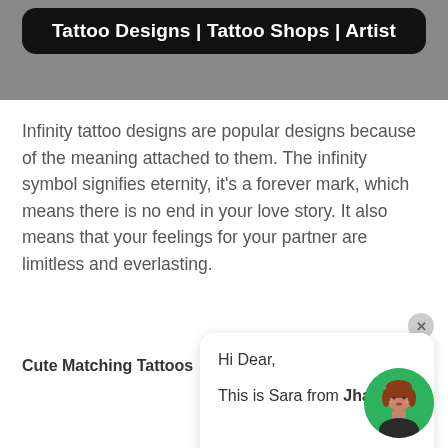Tattoo Designs | Tattoo Shops | Artist
Infinity tattoo designs are popular designs because of the meaning attached to them. The infinity symbol signifies eternity, it's a forever mark, which means there is no end in your love story. It also means that your feelings for your partner are limitless and everlasting.
Cute Matching Tattoos
Hi Dear,

This is Sara from JhaiHo!
[Figure (illustration): Avatar of a woman with red hair on a green circular background]